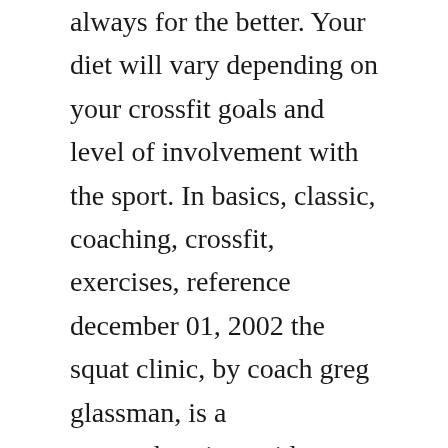always for the better. Your diet will vary depending on your crossfit goals and level of involvement with the sport. In basics, classic, coaching, crossfit, exercises, reference december 01, 2002 the squat clinic, by coach greg glassman, is a comprehensive guide to our most foundational movement. Photographs outline 23 points of performance for a sound squat, common faults and cues to correct them. Reviewed in the united kingdom on december 18, 2010. By summer of 2007, the first crossfit games were in the books. In this early article from the crossfit journal